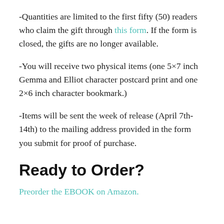-Quantities are limited to the first fifty (50) readers who claim the gift through this form. If the form is closed, the gifts are no longer available.
-You will receive two physical items (one 5×7 inch Gemma and Elliot character postcard print and one 2×6 inch character bookmark.)
-Items will be sent the week of release (April 7th-14th) to the mailing address provided in the form you submit for proof of purchase.
Ready to Order?
Preorder the EBOOK on Amazon.